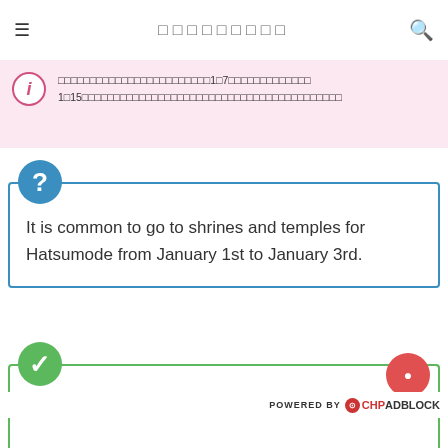□□□□□□□□□
□□□□□□□□□□□□□□□□□□□□□□□□1□7□□□□□□□□□□□□□ 1□15□□□□□□□□□□□□□□□□□□□□□□□□□□□□□□□□□□□□□□□□□
It is common to go to shrines and temples for Hatsumode from January 1st to January 3rd.
□□□□1□1□□□1□3□□□□□□□□□□□□□□□□□□□□□□□□□□□□□